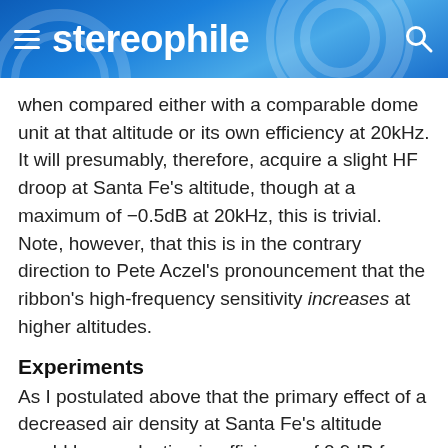stereophile
when compared either with a comparable dome unit at that altitude or its own efficiency at 20kHz. It will presumably, therefore, acquire a slight HF droop at Santa Fe's altitude, though at a maximum of −0.5dB at 20kHz, this is trivial. Note, however, that this is in the contrary direction to Pete Aczel's pronouncement that the ribbon's high-frequency sensitivity increases at higher altitudes.
Experiments
As I postulated above that the primary effect of a decreased air density at Santa Fe's altitude would be a reduction in efficiency of 0.9dB for a conventional moving-coil drive-unit, it seemed obvious to measure the voltage sensitivity of a loudspeaker system in